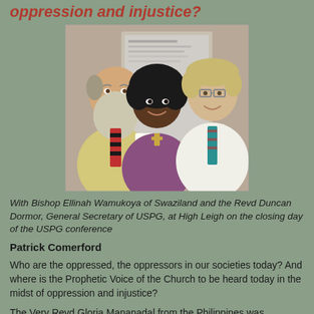oppression and injustice?
[Figure (photo): Three people posing together indoors in front of a display board: a man with a large grey beard wearing a yellow jacket and striped red-and-black tie on the left; a woman with an afro hairstyle wearing a grey jacket and bishop's purple vestment with a cross in the center; and a taller man with glasses wearing a white shirt and teal patterned tie on the right.]
With Bishop Ellinah Wamukoya of Swaziland and the Revd Duncan Dormor, General Secretary of USPG, at High Leigh on the closing day of the USPG conference
Patrick Comerford
Who are the oppressed, the oppressors in our societies today? And where is the Prophetic Voice of the Church to be heard today in the midst of oppression and injustice?
The Very Revd Gloria Mananadal from the Philippines was